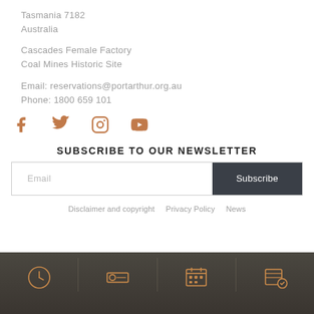Tasmania 7182
Australia
Cascades Female Factory
Coal Mines Historic Site
Email: reservations@portarthur.org.au
Phone: 1800 659 101
[Figure (illustration): Social media icons: Facebook, Twitter, Instagram, YouTube in terracotta/orange color]
SUBSCRIBE TO OUR NEWSLETTER
Email input field with Subscribe button
Disclaimer and copyright  Privacy Policy  News
[Figure (illustration): Bottom navigation bar with four icon cells on dark background: clock/hours icon, ticket icon, calendar icon, map/guide icon]